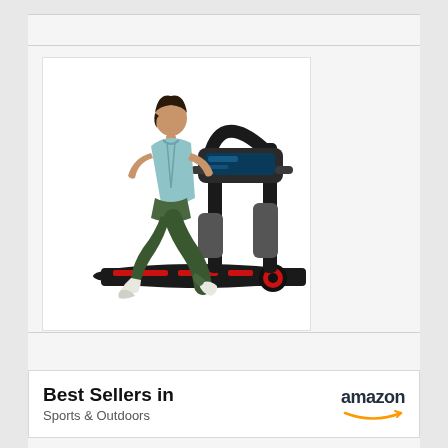[Figure (photo): A woman running on a black treadmill with red accent lights. The woman is wearing a light blue sleeveless top and dark green leggings with white sneakers, shown from behind/side angle. The treadmill is a Bowflex or similar brand with a large digital console.]
[Figure (screenshot): Amazon Best Sellers badge/banner showing 'Best Sellers in' text on the left and the Amazon logo on the right with the orange smile arrow underneath.]